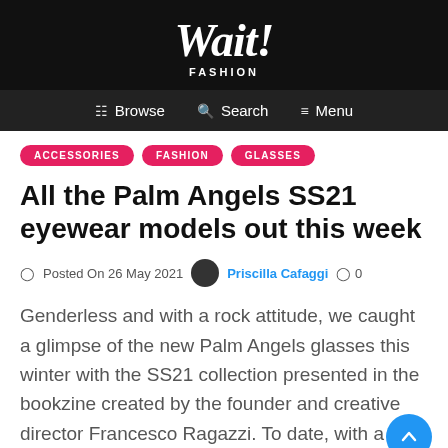Wait! FASHION
Browse  Search  Menu
ACCESSORIES
FASHION
GLASSES
All the Palm Angels SS21 eyewear models out this week
Posted On 26 May 2021  Priscilla Cafaggi  0
Genderless and with a rock attitude, we caught a glimpse of the new Palm Angels glasses this winter with the SS21 collection presented in the bookzine created by the founder and creative director Francesco Ragazzi. To date, with a watchful eye on